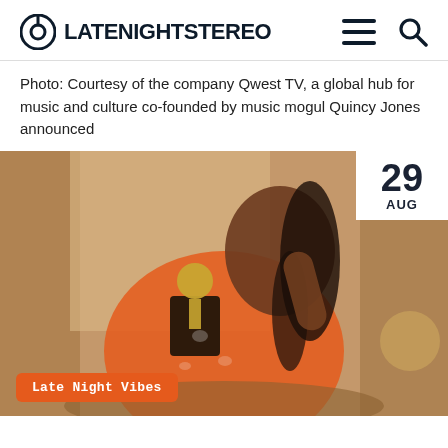LATENIGHTSTEREO
Photo: Courtesy of the company Qwest TV, a global hub for music and culture co-founded by music mogul Quincy Jones announced
[Figure (photo): A young Black woman with long braids, wearing an orange patterned outfit, holding a gold and black trophy/music box in an elegant room setting. Date badge shows 29 AUG. Tag reads 'Late Night Vibes'.]